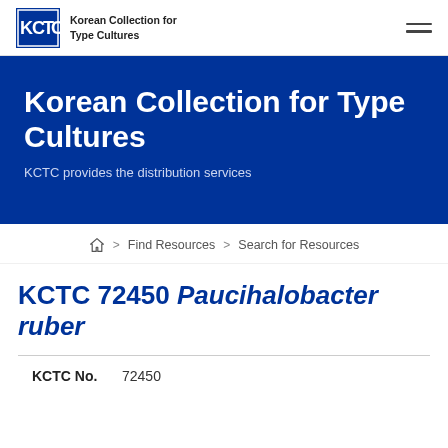Korean Collection for Type Cultures
Korean Collection for Type Cultures
KCTC provides the distribution services
Home > Find Resources > Search for Resources
KCTC 72450 Paucihalobacter ruber
| Field | Value |
| --- | --- |
| KCTC No. | 72450 |